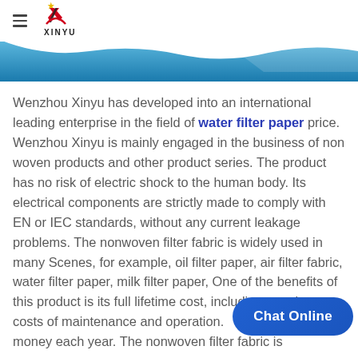XINYU [logo with hamburger menu]
[Figure (photo): Blue banner strip with wave design at top of page]
Wenzhou Xinyu has developed into an international leading enterprise in the field of water filter paper price. Wenzhou Xinyu is mainly engaged in the business of non woven products and other product series. The product has no risk of electric shock to the human body. Its electrical components are strictly made to comply with EN or IEC standards, without any current leakage problems. The nonwoven filter fabric is widely used in many Scenes, for example, oil filter paper, air filter fabric, water filter paper, milk filter paper, One of the benefits of this product is its full lifetime cost, including ongoing costs of maintenance and operation. It can save a lot of money each year. The nonwoven filter fabric is